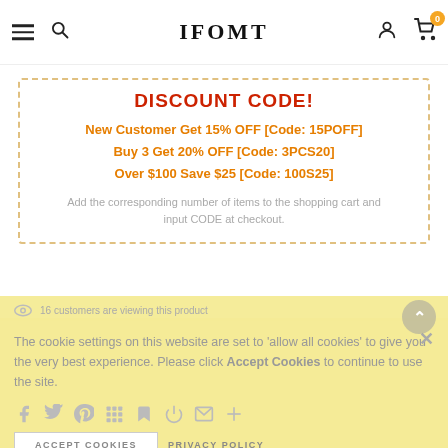IFOMT
DISCOUNT CODE!
New Customer Get 15% OFF [Code: 15POFF]
Buy 3 Get 20% OFF [Code: 3PCS20]
Over $100 Save $25 [Code: 100S25]
Add the corresponding number of items to the shopping cart and input CODE at checkout.
16 customers are viewing this product
The cookie settings on this website are set to 'allow all cookies' to give you the very best experience. Please click Accept Cookies to continue to use the site.
ACCEPT COOKIES   PRIVACY POLICY